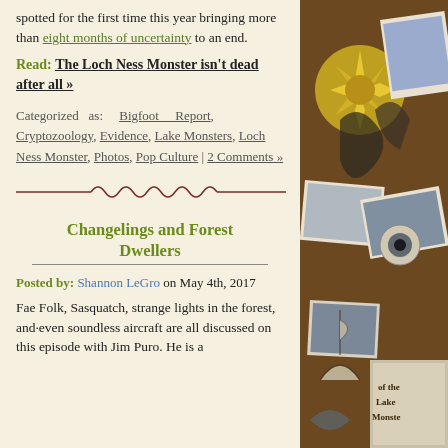spotted for the first time this year bringing more than eight months of uncertainty to an end.
Read: The Loch Ness Monster isn't dead after all »
Categorized as: Bigfoot Report, Cryptozoology, Evidence, Lake Monsters, Loch Ness Monster, Photos, Pop Culture | 2 Comments »
[Figure (illustration): Decorative wavy line divider in dark red/maroon color]
Changelings and Forest Dwellers
Posted by: Shannon LeGro on May 4th, 2017
Fae Folk, Sasquatch, strange lights in the forest, and even soundless aircraft are all discussed on this episode with Jim Pura. He is a
[Figure (photo): Collage of cryptozoology and paranormal themed images on brown background including coins, photos, a book about lake monsters]